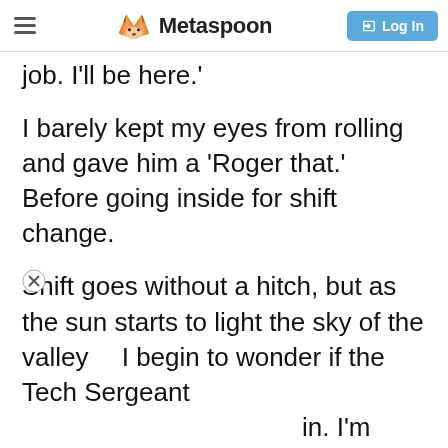Metaspoon  Log In
job. I'll be here.'
I barely kept my eyes from rolling and gave him a 'Roger that.' Before going inside for shift change.
Shift goes without a hitch, but as the sun starts to light the sky of the valley I begin to wonder if the Tech Sergeant in. I'm alone on the an inner debate on el them myself or
[Figure (screenshot): Black overlay panel with small fox logo icon (Metaspoon) in bottom-left area of screen]